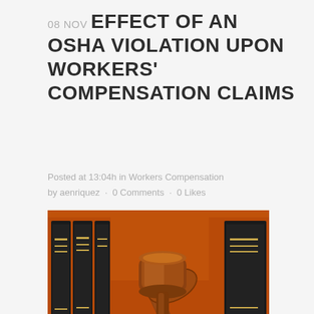08 NOV EFFECT OF AN OSHA VIOLATION UPON WORKERS' COMPENSATION CLAIMS
Posted at 13:04h in Workers Compensation by aenriquez · 0 Comments · 0 Likes
[Figure (photo): A wooden gavel resting on a sound block surrounded by law books with red/orange covers and black spines with gold lettering, set on a wooden surface.]